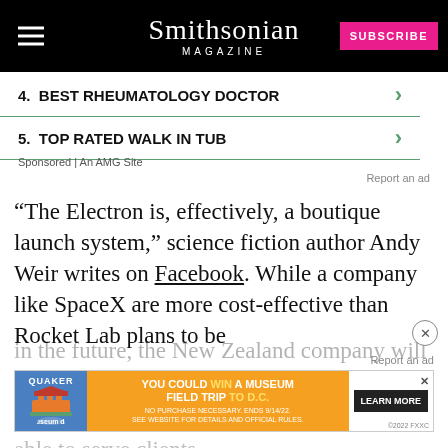Smithsonian MAGAZINE
4. BEST RHEUMATOLOGY DOCTOR
5. TOP RATED WALK IN TUB
Sponsored | An AMG Site
Report an ad
“The Electron is, effectively, a boutique launch system,” science fiction author Andy Weir writes on Facebook. While a company like SpaceX are more cost-effective than Rocket Lab plans to be in the future, the New Zealand company will be able to serve clients have complete control over low-competed
[Figure (screenshot): Advertisement banner: Quaker Museum Day promotion - YOU COULD WIN A MUSEUM FIELD TRIP TO D.C. LEARN MORE]
Report an ad